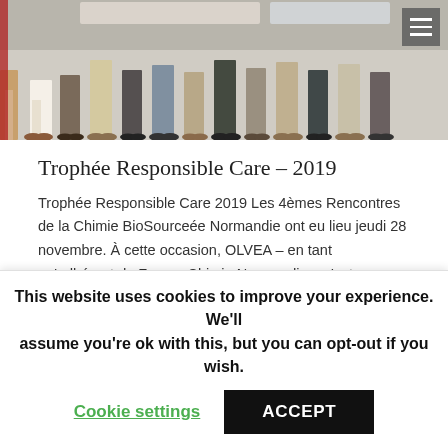[Figure (photo): Group photo showing people standing in a row, only legs and lower bodies visible, with red/blue/white banner-like background]
Trophée Responsible Care – 2019
Trophée Responsible Care 2019 Les 4èmes Rencontres de la Chimie BioSourceée Normandie ont eu lieu jeudi 28 novembre. À cette occasion, OLVEA – en tant qu'adhérant de France Chimie Normandie – s'est vu remettre le Trophée Responsible Care 2019 dans la catégorie RSE et intégration locale ! 🏆🌍 Ce trophée est la reconnaissance du travail,…
This website uses cookies to improve your experience. We'll assume you're ok with this, but you can opt-out if you wish.
Cookie settings
ACCEPT